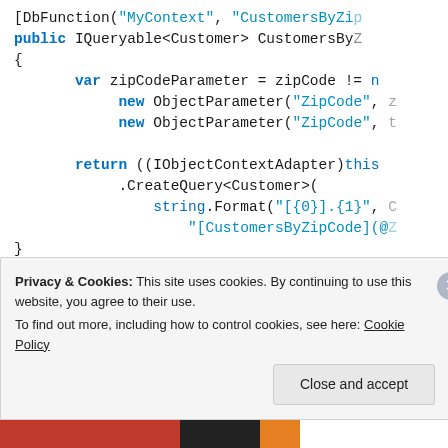[Figure (screenshot): Code snippet in C# showing DbFunction attribute, CustomersByZip method with IQueryable return, zipCodeParameter variable, ObjectParameter calls, return statement with IObjectContextAdapter, CreateQuery<Customer>, string.Format with '[{0}].{1}' and '[CustomersByZipCode](@...)' patterns, followed by public ObjectResult<Customer> GetCustome... method and nameParameter variable.]
Privacy & Cookies: This site uses cookies. By continuing to use this website, you agree to their use.
To find out more, including how to control cookies, see here: Cookie Policy
Close and accept